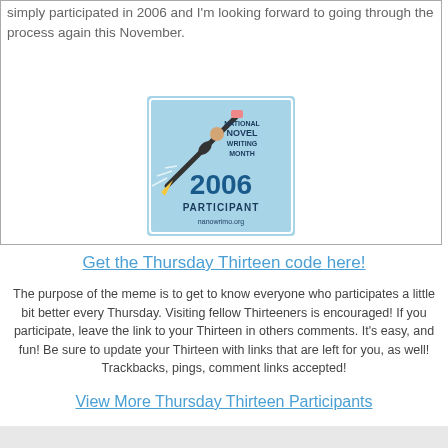Disclaimer - I don't work for National Novel Writing Month. I simply participated in 2006 and I'm looking forward to going through the process again this November.
[Figure (logo): National Novel Writing Month 2006 Participant badge from nanowrimo.org showing a figure riding a pencil like a rocket]
Get the Thursday Thirteen code here!
The purpose of the meme is to get to know everyone who participates a little bit better every Thursday. Visiting fellow Thirteeners is encouraged! If you participate, leave the link to your Thirteen in others comments. It's easy, and fun! Be sure to update your Thirteen with links that are left for you, as well! Trackbacks, pings, comment links accepted!
View More Thursday Thirteen Participants